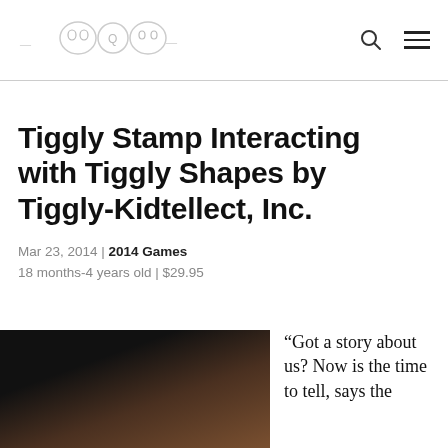[logo] [search icon] [menu icon]
Tiggly Stamp Interacting with Tiggly Shapes by Tiggly-Kidtellect, Inc.
Mar 23, 2014 | 2014 Games
18 months-4 years old | $29.95
[Figure (photo): Partial photo of a child or product, dark/brown tones, cropped at top]
“Got a story about us? Now is the time to tell, says the